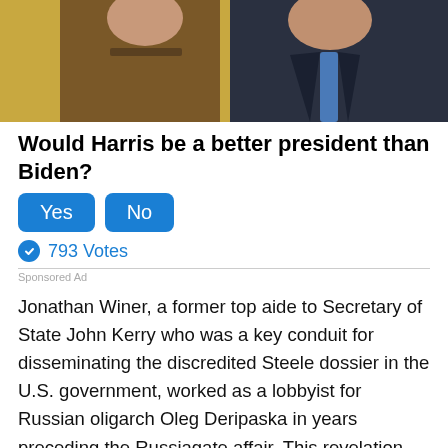[Figure (photo): Photo of two people, a woman in a brown jacket with pearl necklace and a man in a dark suit with blue tie, standing together in front of a gold/yellow background.]
Would Harris be a better president than Biden?
Yes   No
793 Votes
Sponsored Ad
Jonathan Winer, a former top aide to Secretary of State John Kerry who was a key conduit for disseminating the discredited Steele dossier in the U.S. government, worked as a lobbyist for Russian oligarch Oleg Deripaska in years preceding the Russiagate affair. This revelation raises new questions about Russian efforts to influence American foreign policy — far afield from any Kremlin